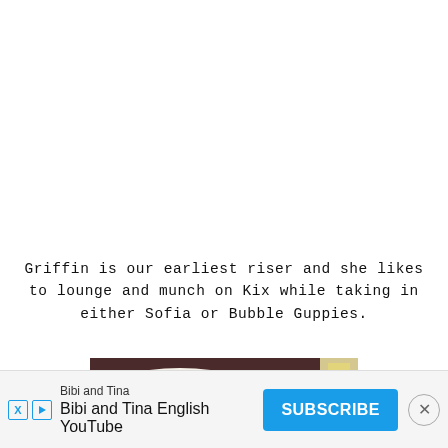Griffin is our earliest riser and she likes to lounge and munch on Kix while taking in either Sofia or Bubble Guppies.
[Figure (photo): A child lying in bed with white pillows and a colorful floral blanket, head visible at bottom of frame, bedroom setting with warm lighting]
Bibi and Tina — Bibi and Tina English YouTube — SUBSCRIBE